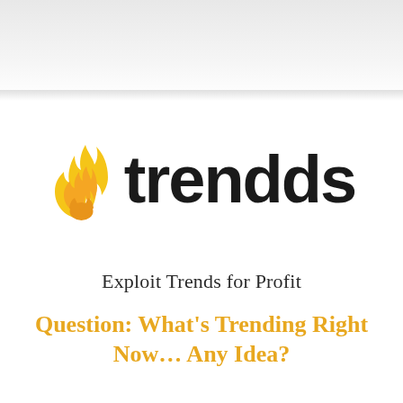[Figure (logo): Trendds logo: a yellow flame icon on the left, and the word 'trendds' in large bold black sans-serif font on the right]
Exploit Trends for Profit
Question: What's Trending Right Now… Any Idea?